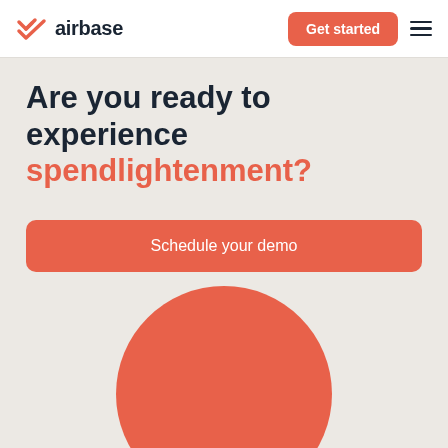[Figure (logo): Airbase logo: orange chevron/checkmark icon followed by the word 'airbase' in dark bold text]
Are you ready to experience spendlightenment?
Schedule your demo
[Figure (illustration): Large orange circle, partially visible at the bottom of the page]